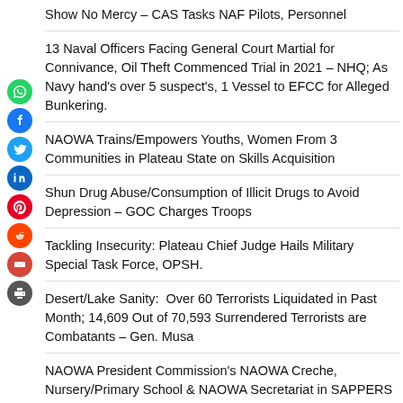Show No Mercy – CAS Tasks NAF Pilots, Personnel
13 Naval Officers Facing General Court Martial for Connivance, Oil Theft Commenced Trial in 2021 – NHQ; As Navy hand's over 5 suspect's, 1 Vessel to EFCC for Alleged Bunkering.
NAOWA Trains/Empowers Youths, Women From 3 Communities in Plateau State on Skills Acquisition
Shun Drug Abuse/Consumption of Illicit Drugs to Avoid Depression – GOC Charges Troops
Tackling Insecurity: Plateau Chief Judge Hails Military  Special Task Force, OPSH.
Desert/Lake Sanity:  Over 60 Terrorists Liquidated in Past Month; 14,609 Out of 70,593 Surrendered Terrorists are Combatants – Gen. Musa
NAOWA President Commission's NAOWA Creche, Nursery/Primary School & NAOWA Secretariat in SAPPERS Barracks, Ilese Ijebu Ode